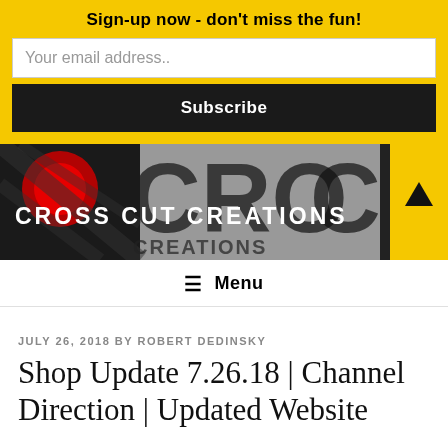Sign-up now - don't miss the fun!
[Figure (other): Cross Cut Creations website banner with bold black and red typography on grey/black background, with yellow arrow box on the right]
≡ Menu
JULY 26, 2018 BY ROBERT DEDINSKY
Shop Update 7.26.18 | Channel Direction | Updated Website
The shop update for July 26, 2018 has quite a bit to digest, so here is goes.